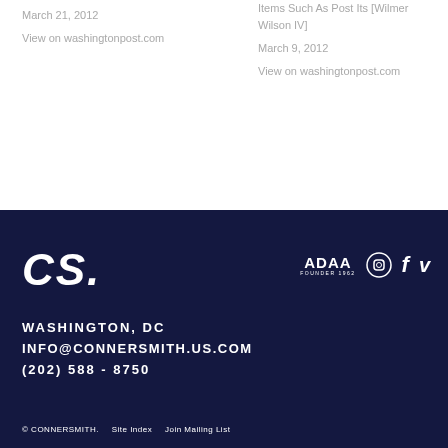March 21, 2012
View on washingtonpost.com
Items Such As Post Its [Wilmer Wilson IV]
March 9, 2012
View on washingtonpost.com
CS. WASHINGTON, DC INFO@CONNERSMITH.US.COM (202) 588 - 8750 © CONNERSMITH. Site Index Join Mailing List